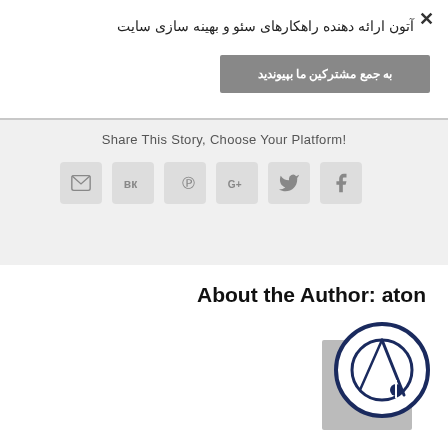×
آتون ارائه دهنده راهکارهای سئو و بهینه سازی سایت
به جمع مشترکین ما بپیوندید
Share This Story, Choose Your Platform!
[Figure (other): Social sharing icon buttons: email, VK, Pinterest, Google+, Twitter, Facebook]
About the Author: aton
[Figure (logo): Author avatar: circular logo with stylized pen/compass design in navy blue]